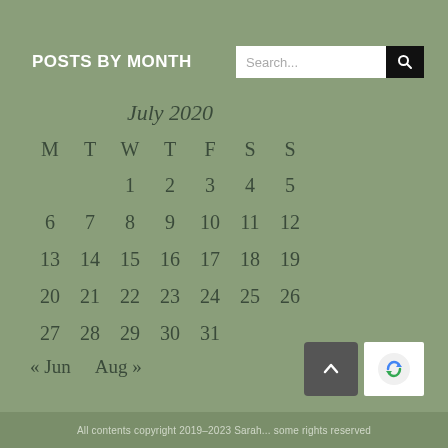POSTS BY MONTH
| M | T | W | T | F | S | S |
| --- | --- | --- | --- | --- | --- | --- |
|  | 1 | 2 | 3 | 4 | 5 |  |
| 6 | 7 | 8 | 9 | 10 | 11 | 12 |
| 13 | 14 | 15 | 16 | 17 | 18 | 19 |
| 20 | 21 | 22 | 23 | 24 | 25 | 26 |
| 27 | 28 | 29 | 30 | 31 |  |  |
« Jun   Aug »
All contents copyright 2019-2023 Sarah...